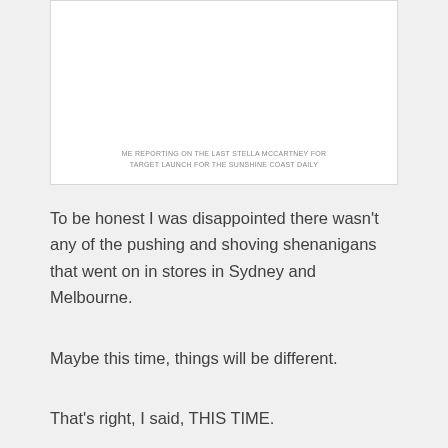[Figure (photo): White image box with a photo placeholder area]
ME REPORTING ON THE LAST STELLA MCCARTNEY FOR TARGET LAUNCH FOR THE SUNSHINE COAST DAILY
To be honest I was disappointed there wasn't any of the pushing and shoving shenanigans that went on in stores in Sydney and Melbourne.
Maybe this time, things will be different.
That's right, I said, THIS TIME.